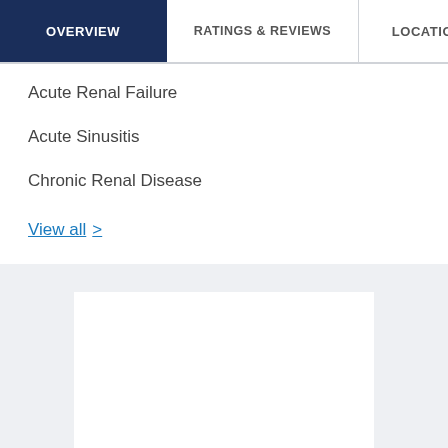OVERVIEW | RATINGS & REVIEWS | LOCATIONS | EX
Acute Renal Failure
Acute Sinusitis
Chronic Renal Disease
View all >
[Figure (other): White rectangular content placeholder box on a light gray background]